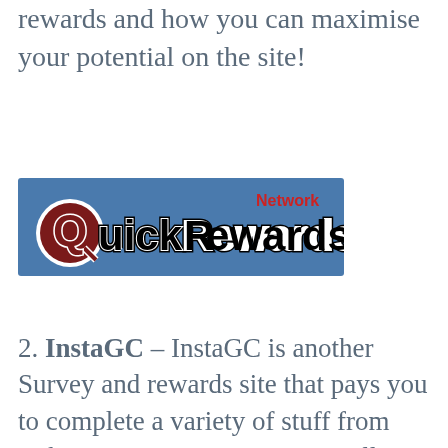rewards and how you can maximise your potential on the site!
[Figure (logo): QuickRewards Network logo — white text on blue background with stylized lettering]
2. InstaGC – InstaGC is another Survey and rewards site that pays you to complete a variety of stuff from tasks to surveys. Insta GC is well known for having a $1 minimum cashout as well as immediate delivery time. Insta GC